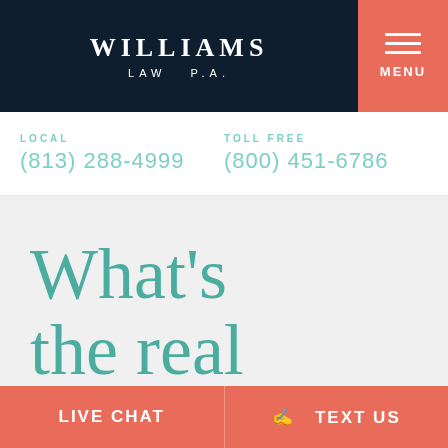WILLIAMS LAW P.A.
LOCAL (813) 288-4999   TOLL FREE (800) 451-6786
What's the real
LIVE CHAT   TEXT US